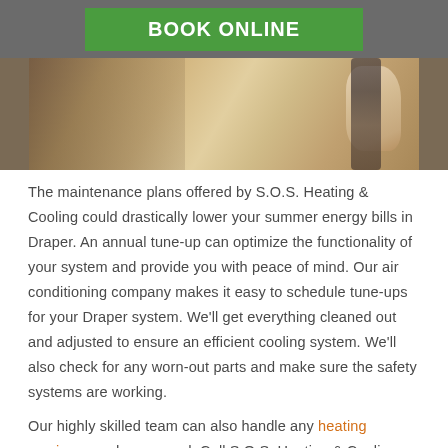BOOK ONLINE
[Figure (photo): Photo of a person pointing at or adjusting a thermostat or smart device on a wall]
The maintenance plans offered by S.O.S. Heating & Cooling could drastically lower your summer energy bills in Draper. An annual tune-up can optimize the functionality of your system and provide you with peace of mind. Our air conditioning company makes it easy to schedule tune-ups for your Draper system. We'll get everything cleaned out and adjusted to ensure an efficient cooling system. We'll also check for any worn-out parts and make sure the safety systems are working.
Our highly skilled team can also handle any heating services needs you need. Call S.O.S. Heating & Cooling